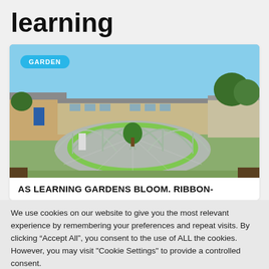learning
[Figure (photo): Outdoor school learning garden with circular metal arch structures over green benches on a paved area, school building in background, blue sky. A 'GARDEN' badge overlaid in top-left corner.]
AS LEARNING GARDENS BLOOM. RIBBON-
We use cookies on our website to give you the most relevant experience by remembering your preferences and repeat visits. By clicking “Accept All”, you consent to the use of ALL the cookies. However, you may visit "Cookie Settings" to provide a controlled consent.